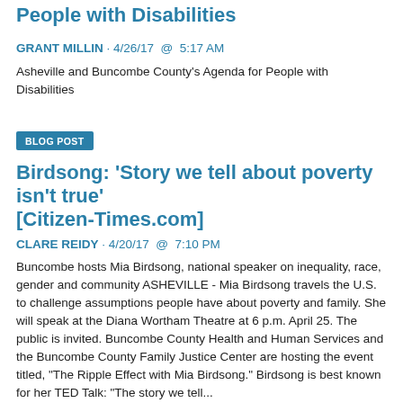Asheville and Buncombe County's Agenda for People with Disabilities
GRANT MILLIN · 4/26/17  @  5:17 AM
Asheville and Buncombe County's Agenda for People with Disabilities
BLOG POST
Birdsong: 'Story we tell about poverty isn't true' [Citizen-Times.com]
CLARE REIDY · 4/20/17  @  7:10 PM
Buncombe hosts Mia Birdsong, national speaker on inequality, race, gender and community ASHEVILLE - Mia Birdsong travels the U.S. to challenge assumptions people have about poverty and family. She will speak at the Diana Wortham Theatre at 6 p.m. April 25. The public is invited. Buncombe County Health and Human Services and the Buncombe County Family Justice Center are hosting the event titled, "The Ripple Effect with Mia Birdsong." Birdsong is best known for her TED Talk: "The story we tell...
BLOG POST
Building Resilient Communities by Creating Connections: Schools...